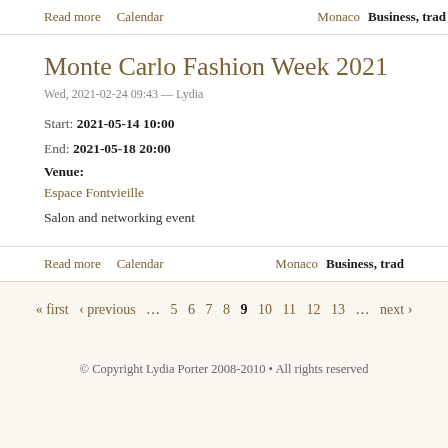Read more   Calendar   Monaco   Business, trad
Monte Carlo Fashion Week 2021
Wed, 2021-02-24 09:43 — Lydia
Start: 2021-05-14 10:00
End: 2021-05-18 20:00
Venue:
Espace Fontvieille
Salon and networking event
Read more   Calendar   Monaco   Business, trad
« first  ‹ previous  … 5 6 7 8 9 10 11 12 13 … next ›
© Copyright Lydia Porter 2008-2010 • All rights reserved